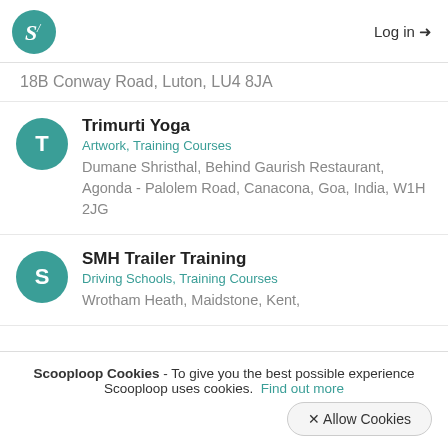Log in →
18B Conway Road, Luton, LU4 8JA
Trimurti Yoga
Artwork, Training Courses
Dumane Shristhal, Behind Gaurish Restaurant, Agonda - Palolem Road, Canacona, Goa, India, W1H 2JG
SMH Trailer Training
Driving Schools, Training Courses
Wrotham Heath, Maidstone, Kent,
Scooploop Cookies - To give you the best possible experience Scooploop uses cookies. Find out more
✕ Allow Cookies